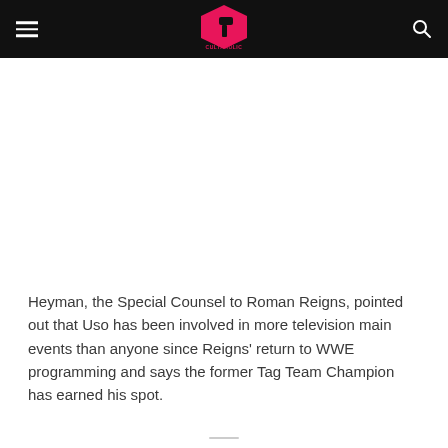CULTAHOLIC
Heyman, the Special Counsel to Roman Reigns, pointed out that Uso has been involved in more television main events than anyone since Reigns' return to WWE programming and says the former Tag Team Champion has earned his spot.
Uso is set to main event Smackdown again this week, against